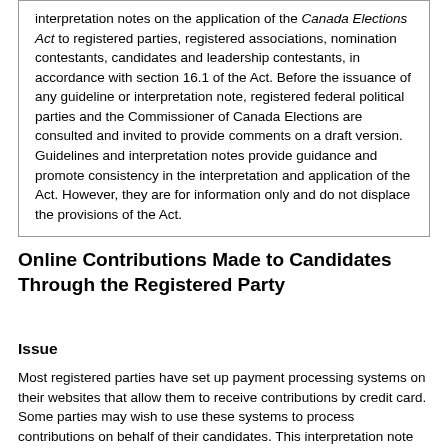interpretation notes on the application of the Canada Elections Act to registered parties, registered associations, nomination contestants, candidates and leadership contestants, in accordance with section 16.1 of the Act. Before the issuance of any guideline or interpretation note, registered federal political parties and the Commissioner of Canada Elections are consulted and invited to provide comments on a draft version. Guidelines and interpretation notes provide guidance and promote consistency in the interpretation and application of the Act. However, they are for information only and do not displace the provisions of the Act.
Online Contributions Made to Candidates Through the Registered Party
Issue
Most registered parties have set up payment processing systems on their websites that allow them to receive contributions by credit card. Some parties may wish to use these systems to process contributions on behalf of their candidates. This interpretation note clarifies under what conditions the Canada Elections Act ("CEA") allows a registered party to collect online contributions on behalf of its candidates and/or the local association with which the candidate is associated.